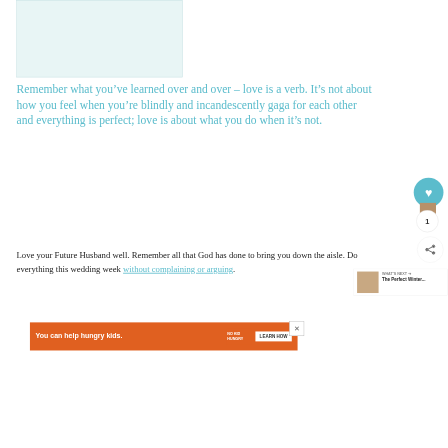[Figure (photo): Light teal/blue placeholder image area at top of page]
Remember what you’ve learned over and over – love is a verb. It’s not about how you feel when you’re blindly and incandescently gaga for each other and everything is perfect; love is about what you do when it’s not.
Love your Future Husband well. Remember all that God has done to bring you down the aisle. Do everything this wedding week without complaining or arguing.
You can help hungry kids. NO KID HUNGRY LEARN HOW